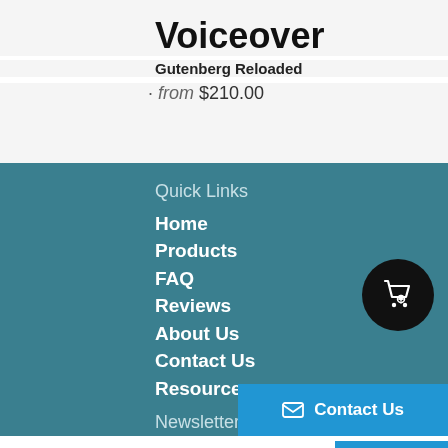Voiceover
Gutenberg Reloaded
from $210.00
Quick Links
Home
Products
FAQ
Reviews
About Us
Contact Us
Resources
Newsletter
Subscribe
Follow us
Contact Us